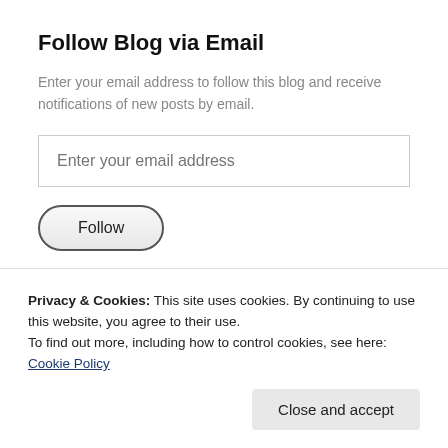Follow Blog via Email
Enter your email address to follow this blog and receive notifications of new posts by email.
[Figure (screenshot): Email input field with placeholder text 'Enter your email address']
[Figure (screenshot): Follow button with rounded pill shape]
Join 9,707 other followers
Privacy & Cookies: This site uses cookies. By continuing to use this website, you agree to their use. To find out more, including how to control cookies, see here: Cookie Policy
[Figure (screenshot): Close and accept button for cookie banner]